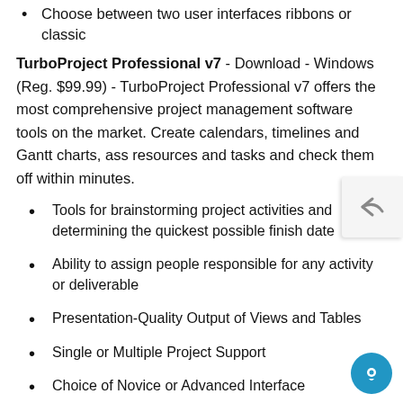Choose between two user interfaces ribbons or classic
TurboProject Professional v7 - Download - Windows (Reg. $99.99) - TurboProject Professional v7 offers the most comprehensive project management software tools on the market. Create calendars, timelines and Gantt charts, ass resources and tasks and check them off within minutes.
Tools for brainstorming project activities and determining the quickest possible finish date
Ability to assign people responsible for any activity or deliverable
Presentation-Quality Output of Views and Tables
Single or Multiple Project Support
Choice of Novice or Advanced Interface
Publish to PDF